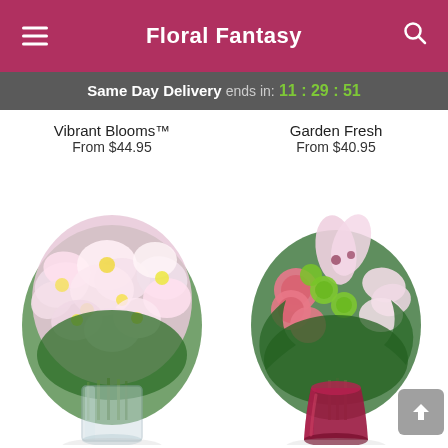Floral Fantasy
Same Day Delivery ends in: 11:29:51
Vibrant Blooms™
From $44.95
Garden Fresh
From $40.95
[Figure (photo): Lively Lilies bouquet in a clear glass vase with pink and white alstroemeria flowers]
[Figure (photo): Perfectly Pink bouquet in a dark pink vase with pink roses, lilies, and green flowers]
Lively Lilies™
Perfectly Pink™